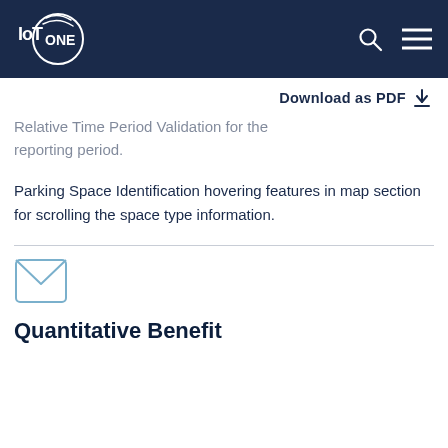IoT ONE
Download as PDF
Relative Time Period Validation for the reporting period.
Parking Space Identification hovering features in map section for scrolling the space type information.
[Figure (illustration): Envelope/mail icon in light blue outline style]
Quantitative Benefit